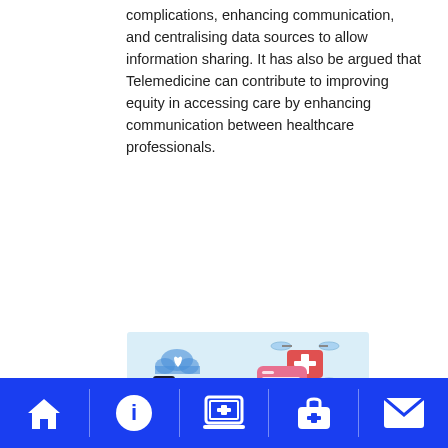complications, enhancing communication, and centralising data sources to allow information sharing. It has also be argued that Telemedicine can contribute to improving equity in accessing care by enhancing communication between healthcare professionals.
[Figure (illustration): Telemedicine illustration showing a doctor on a laptop screen, a smartwatch, medical drones carrying first aid kits, and various digital health icons on a light blue background.]
Navigation bar with home, info, telemedicine, medical bag, and mail icons on a blue background.